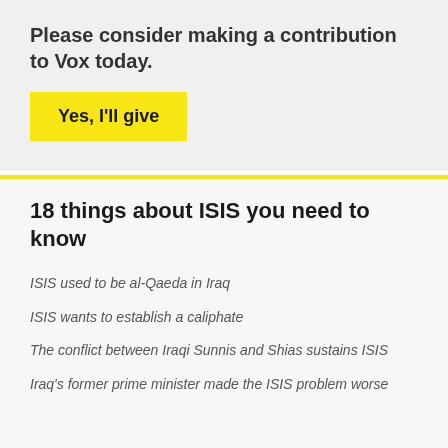Please consider making a contribution to Vox today.
Yes, I'll give
18 things about ISIS you need to know
ISIS used to be al-Qaeda in Iraq
ISIS wants to establish a caliphate
The conflict between Iraqi Sunnis and Shias sustains ISIS
Iraq's former prime minister made the ISIS problem worse